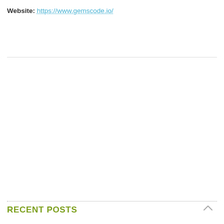Website: https://www.gemscode.io/
RECENT POSTS